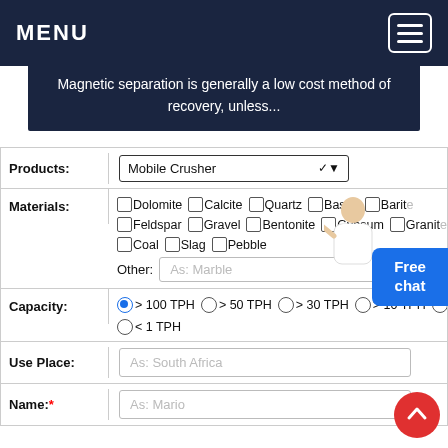MENU
Magnetic separation is generally a low cost method of recovery, unless...
| Field | Value |
| --- | --- |
| Products: | Mobile Crusher |
| Materials: | Dolomite  Calcite  Quartz  Basalt  Barite  Feldspar  Gravel  Bentonite  Gypsum  Granite  Coal  Slag  Pebble  Other: As: Marble |
| Capacity: | > 100 TPH  > 50 TPH  > 30 TPH  > 10 TPH  > 1 TPH  < 1 TPH |
| Use Place: | As: South Africa |
| Name:* | As: Mario |